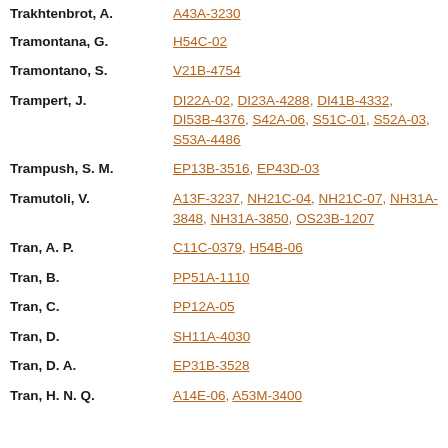Trakhtenbrot, A. — A43A-3230
Tramontana, G. — H54C-02
Tramontano, S. — V21B-4754
Trampert, J. — DI22A-02, DI23A-4288, DI41B-4332, DI53B-4376, S42A-06, S51C-01, S52A-03, S53A-4486
Trampush, S. M. — EP13B-3516, EP43D-03
Tramutoli, V. — A13F-3237, NH21C-04, NH21C-07, NH31A-3848, NH31A-3850, OS23B-1207
Tran, A. P. — C11C-0379, H54B-06
Tran, B. — PP51A-1110
Tran, C. — PP12A-05
Tran, D. — SH11A-4030
Tran, D. A. — EP31B-3528
Tran, H. N. Q. — A14E-06, A53M-3400